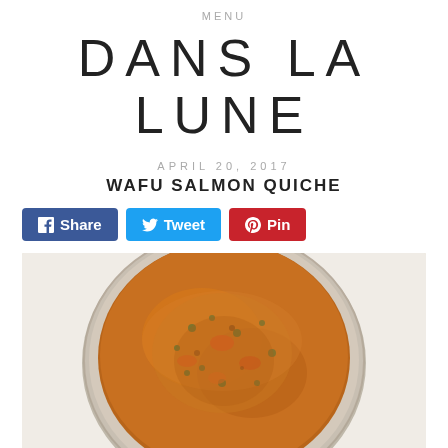MENU
DANS LA LUNE
APRIL 20, 2017
WAFU SALMON QUICHE
[Figure (illustration): Social share buttons: Share (Facebook, blue), Tweet (Twitter, light blue), Pin (Pinterest, red)]
[Figure (photo): Top-down photo of a round salmon quiche in a fluted tart pan, showing a browned egg custard filling with visible herbs and vegetables, on a white background]